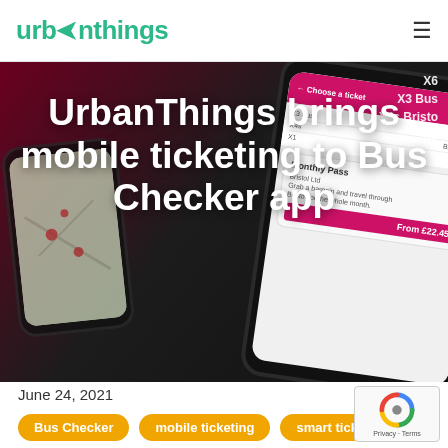urbanthings
[Figure (photo): Hero image showing mobile phones with Bus Checker app displaying mobile ticketing interface, including a Monthly Pass screen with price From £22.45, overlaid with large white title text on dark background]
UrbanThings brings mobile ticketing to Bus Checker app
June 24, 2021
Bus Checker
mobile ticketing
smart ticketing